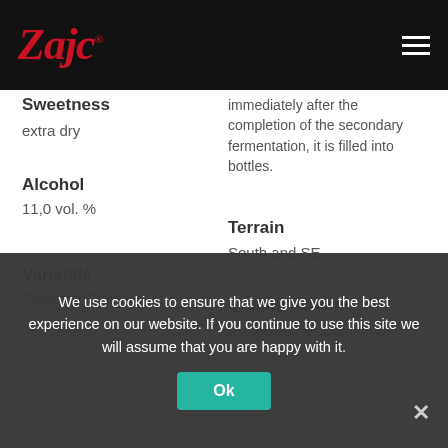Zajc (logo)
immediately after the completion of the secondary fermentation, it is filled into bottles.
Sweetness
extra dry
Terrain
South and SE
Alcohol
11,0 vol. %
Quality scheme
Protected designation of
Varietals
Žametna Črnina
This wine is a very deep ruby red, almost purple colour. The flavour is youthful, fruity, pleasant, full and acidic into
We use cookies to ensure that we give you the best experience on our website. If you continue to use this site we will assume that you are happy with it.